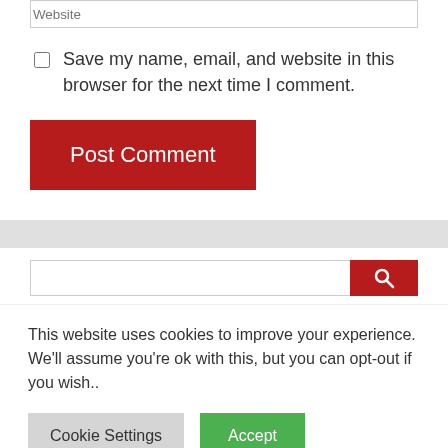Website
Save my name, email, and website in this browser for the next time I comment.
Post Comment
This website uses cookies to improve your experience. We'll assume you're ok with this, but you can opt-out if you wish..
Cookie Settings
Accept